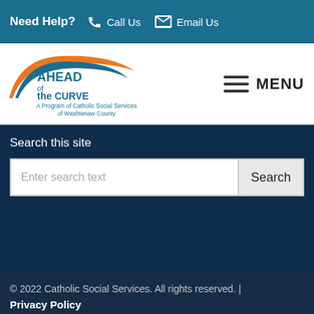Need Help?  Call Us  Email Us
[Figure (logo): Ahead of the Curve logo with orange arc swoosh and text 'AHEAD of the CURVE - A Program of Catholic Social Services of Washtenaw County']
MENU
Search this site
Enter search text
© 2022 Catholic Social Services. All rights reserved. | Privacy Policy